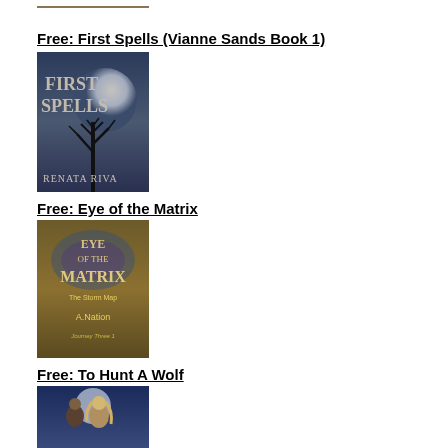[Figure (illustration): Partial book cover image at top of page, cropped]
Free: First Spells (Vianne Sands Book 1)
[Figure (illustration): Book cover for 'First Spells' by Renata Riva — dark blue/purple background with large full moon, bare tree silhouette, text 'FIRST SPELLS' and 'RENATA RIVA']
Free: Eye of the Matrix
[Figure (illustration): Book cover for 'Eye of the Matrix' by A. Nation — golden/brown background, stylized text 'EYE OF THE MATRIX', subtitle 'The Storm Map', author 'A.Nation', series 'Journey Three 1']
Free: To Hunt A Wolf
[Figure (illustration): Book cover for 'To Hunt A Wolf' — shows two people (man and woman) against night sky background, partially visible]